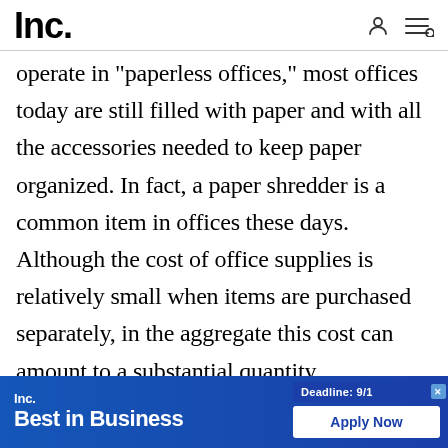Inc.
operate in "paperless offices," most offices today are still filled with paper and with all the accessories needed to keep paper organized. In fact, a paper shredder is a common item in offices these days. Although the cost of office supplies is relatively small when items are purchased separately, in the aggregate this cost can amount to a substantial quantity. Consequently, small busi...hey
[Figure (other): Inc. Best in Business advertisement banner with deadline 9/1 and Apply Now button]